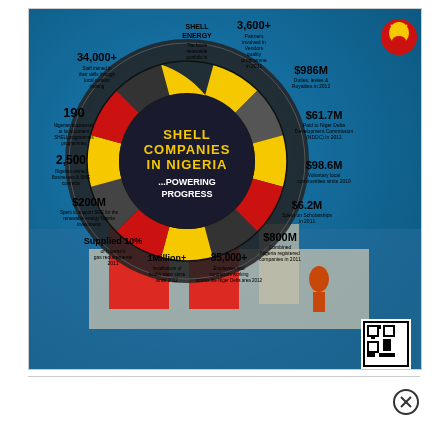[Figure (infographic): Shell Companies in Nigeria – Powering Progress infographic. A circular wheel diagram on a background photo of an offshore oil platform/dock with a worker in red coveralls. The wheel has colored segments (yellow, dark grey/charcoal, red) with statistics including: Shell Energy (3,600+ partners); $986M (Duties, levies & royalties); $61.7M (NDDC contributions); $98.6M (Local communities since 2010); $6.2M (Scholarships); $800M (Combined Nigeria registered companies); 85,000+ employees/contractors; 1Million+ (installations of health water since 2012); Supplied 10%; $200M (Spent to support SME for renewable energy); 2,500 (Nigerian-owned business); 190 (Nigerian businesses at local content); 34,000+ (Staff trained). Center text reads: SHELL COMPANIES IN NIGERIA ...POWERING PROGRESS. Shell logo (red/yellow) top right. QR code bottom right.]
[Figure (other): Close button (circled X icon) in bottom right area below the main infographic image.]